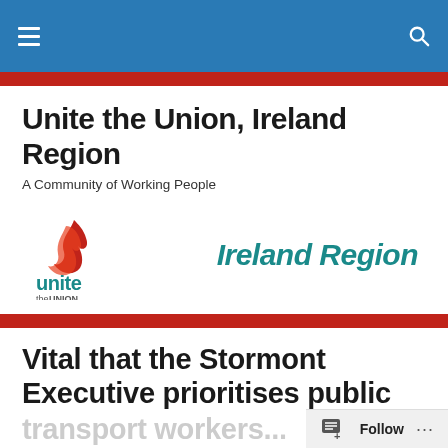Unite the Union Ireland Region — navigation bar with hamburger menu and search icon
Unite the Union, Ireland Region
A Community of Working People
[Figure (logo): Unite the Union logo with flame icon on the left and 'Ireland Region' text in teal italic on the right]
Vital that the Stormont Executive prioritises public transport workers...